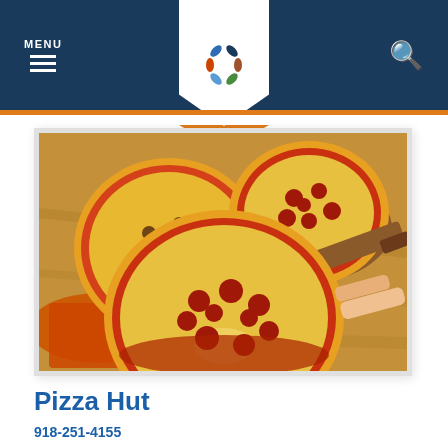MENU
[Figure (photo): Three pepperoni and cheese pizzas on wooden boards and orange plates, with a hand pulling a slice from the front pizza.]
Pizza Hut
918-251-4155
900 S Aspen Ave
Broken Arrow, OK 74012
Head into Pizza Hut in Broken Arrow for pizza the way you want it. Open for lunch or dinner